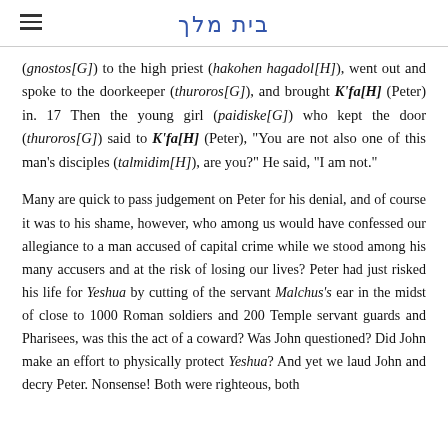בית מלך
(gnostos[G]) to the high priest (hakohen hagadol[H]), went out and spoke to the doorkeeper (thuroros[G]), and brought K'fa[H] (Peter) in. 17 Then the young girl (paidiske[G]) who kept the door (thuroros[G]) said to K'fa[H] (Peter), "You are not also one of this man's disciples (talmidim[H]), are you?" He said, "I am not."
Many are quick to pass judgement on Peter for his denial, and of course it was to his shame, however, who among us would have confessed our allegiance to a man accused of capital crime while we stood among his many accusers and at the risk of losing our lives? Peter had just risked his life for Yeshua by cutting of the servant Malchus's ear in the midst of close to 1000 Roman soldiers and 200 Temple servant guards and Pharisees, was this the act of a coward? Was John questioned? Did John make an effort to physically protect Yeshua? And yet we laud John and decry Peter. Nonsense! Both were righteous, both